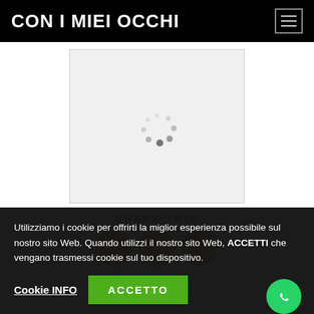CON I MIEI OCCHI
[Figure (screenshot): Loading spinner (circular dots pattern) inside a light gray image placeholder box]
SHARE THIS
[Figure (illustration): Three gold/tan circular social share icon buttons]
Utilizziamo i cookie per offrirti la miglior esperienza possibile sul nostro sito Web. Quando utilizzi il nostro sito Web, ACCETTI che vengano trasmessi cookie sul tuo dispositivo.
Cookie INFO
ACCETTO